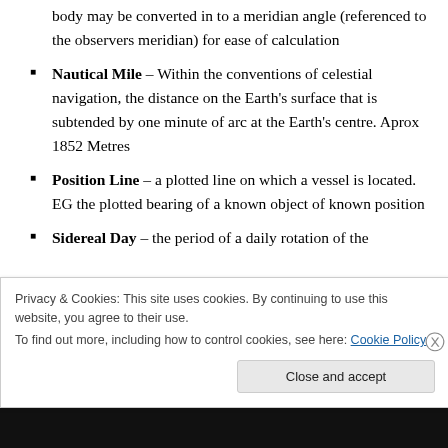body may be converted in to a meridian angle (referenced to the observers meridian) for ease of calculation
Nautical Mile – Within the conventions of celestial navigation, the distance on the Earth's surface that is subtended by one minute of arc at the Earth's centre. Aprox 1852 Metres
Position Line – a plotted line on which a vessel is located. EG the plotted bearing of a known object of known position
Sidereal Day – the period of a daily rotation of the
Privacy & Cookies: This site uses cookies. By continuing to use this website, you agree to their use. To find out more, including how to control cookies, see here: Cookie Policy